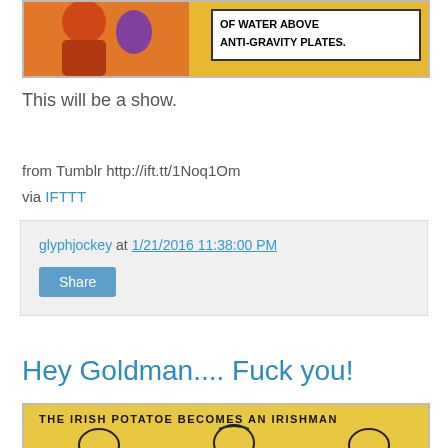[Figure (illustration): Comic strip panel showing a figure with text box reading 'OF WATER ABOVE ANTI-GRAVITY PLATES.' on yellow background]
This will be a show.
from Tumblr http://ift.tt/1Noq1Om
via IFTTT
glyphjockey at 1/21/2016 11:38:00 PM
Share
Hey Goldman.... Fuck you!
[Figure (illustration): Comic on yellow background with text 'THE IRISH POTATOE BECOMES AN IRISHMAN' and cartoon faces below]